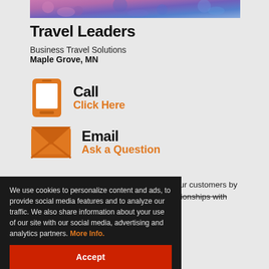[Figure (photo): Partial photo strip at top showing colorful paisley/floral fabric pattern]
Travel Leaders
Business Travel Solutions
Maple Grove, MN
[Figure (illustration): Orange smartphone icon with 'Call' label and 'Click Here' in orange text]
[Figure (illustration): Orange envelope/email icon with 'Email' label and 'Ask a Question' in orange text]
Travel Leaders offers the unexpected to our customers by being proactive with applying tools and ...tionships with ...us to supersede
We use cookies to personalize content and ads, to provide social media features and to analyze our traffic. We also share information about your use of our site with our social media, advertising and analytics partners. More Info.
Accept
Government